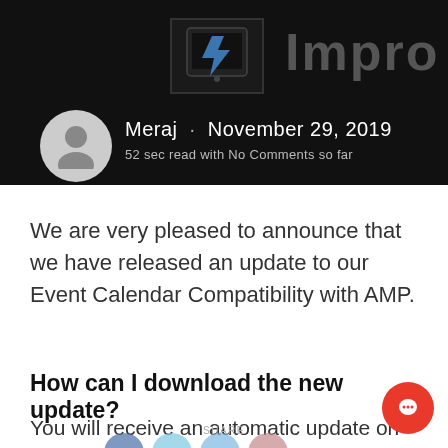[Figure (screenshot): Header banner with dark background showing a logo/device image on left, large 'Impro' text on right (clipped), and author info with avatar below]
Meraj · November 29, 2019
52 sec read with No Comments so far
We are very pleased to announce that we have released an update to our Event Calendar Compatibility with AMP.
How can I download the new update?
You will receive an automatic update on your WordPress dashboard. Please go to Plugin section on your WordPress site and updat...